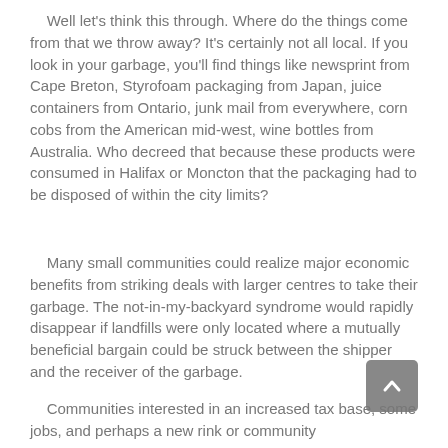Well let's think this through. Where do the things come from that we throw away? It's certainly not all local. If you look in your garbage, you'll find things like newsprint from Cape Breton, Styrofoam packaging from Japan, juice containers from Ontario, junk mail from everywhere, corn cobs from the American mid-west, wine bottles from Australia. Who decreed that because these products were consumed in Halifax or Moncton that the packaging had to be disposed of within the city limits?
Many small communities could realize major economic benefits from striking deals with larger centres to take their garbage. The not-in-my-backyard syndrome would rapidly disappear if landfills were only located where a mutually beneficial bargain could be struck between the shipper and the receiver of the garbage.
Communities interested in an increased tax base, some jobs, and perhaps a new rink or community